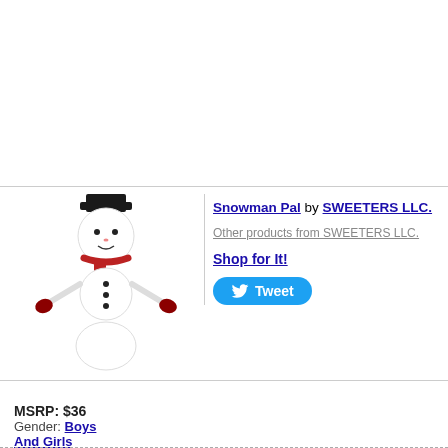[Figure (illustration): Snowman plush toy illustration with black hat, red scarf, red mittens, and three black buttons on white body]
Snowman Pal by SWEETERS LLC.
Other products from SWEETERS LLC.
Shop for It!
Tweet
MSRP: $36
Gender: Boys And Girls
Category: Plush Dolls